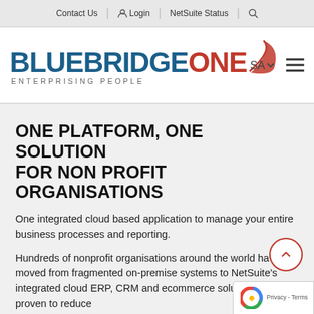Contact Us | Login | NetSuite Status | Search
[Figure (logo): BluebridgeOne logo — BLUEBRIDGE in blue, ONE in red with red swoosh graphic, subtitle ENTERPRISING PEOPLE. SA dropdown and hamburger menu on right.]
ONE PLATFORM, ONE SOLUTION FOR NON PROFIT ORGANISATIONS
One integrated cloud based application to manage your entire business processes and reporting.
Hundreds of nonprofit organisations around the world have moved from fragmented on-premises systems to NetSuite's integrated cloud ERP, CRM and ecommerce solution that is proven to reduce